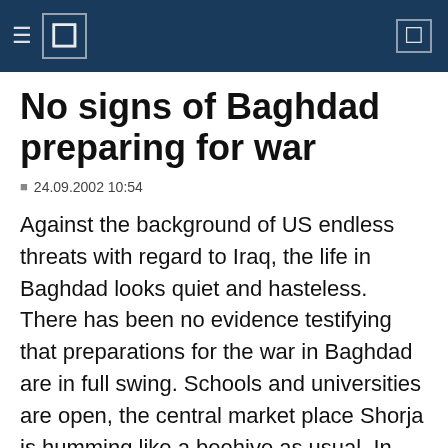No signs of Baghdad preparing for war
24.09.2002 10:54
Against the background of US endless threats with regard to Iraq, the life in Baghdad looks quiet and hasteless. There has been no evidence testifying that preparations for the war in Baghdad are in full swing. Schools and universities are open, the central market place Shorja is humming like a beehive as usual. In the evening the city is brightly illuminated, people stay out till late at night, cinemas, cafes, restaurants and shops are open. Movements across the country are in no way restricted. In the past weeks, no extra soldier or